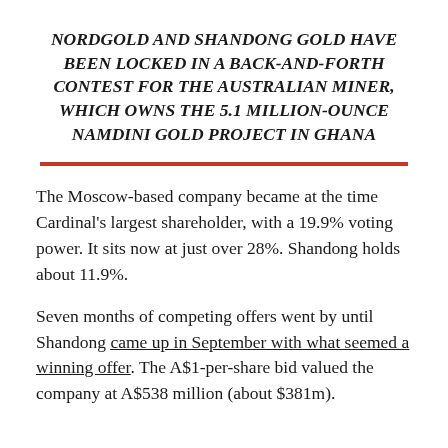NORDGOLD AND SHANDONG GOLD HAVE BEEN LOCKED IN A BACK-AND-FORTH CONTEST FOR THE AUSTRALIAN MINER, WHICH OWNS THE 5.1 MILLION-OUNCE NAMDINI GOLD PROJECT IN GHANA
The Moscow-based company became at the time Cardinal's largest shareholder, with a 19.9% voting power. It sits now at just over 28%. Shandong holds about 11.9%.
Seven months of competing offers went by until Shandong came up in September with what seemed a winning offer. The A$1-per-share bid valued the company at A$538 million (about $381m).